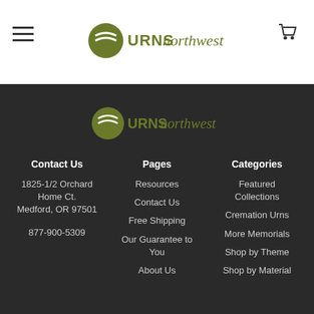[Figure (logo): Urns Northwest logo with circular icon and stylized text in olive/dark yellow-green color]
[Figure (logo): Urns Northwest logo in footer, same design on dark background]
Contact Us
1825-1/2 Orchard Home Ct.
Medford, OR 97501
877-900-5309
Pages
Resources
Contact Us
Free Shipping
Our Guarantee to You
About Us
Categories
Featured Collections
Cremation Urns
More Memorials
Shop by Theme
Shop by Material